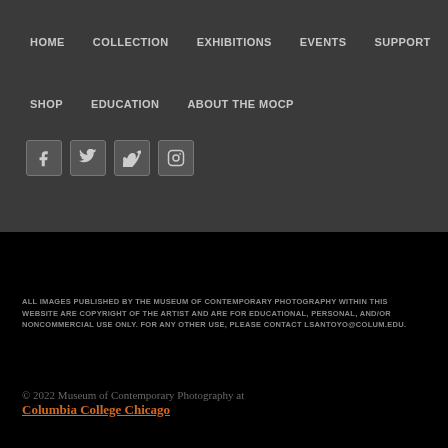HOME   COLLECTION   EXHIBITIONS   EVENTS   SUPPORT
SHOP   EDUCATION   ABOUT THE MOCP
[Figure (infographic): Social media icons: Facebook, Twitter, Vimeo, Instagram]
ALL IMAGES PUBLISHED BY THE MUSEUM OF CONTEMPORARY PHOTOGRAPHY WITHIN THIS WEBSITE ARE COPYRIGHT OF THE ARTIST AND ARE FOR EDUCATIONAL, PERSONAL, AND/OR NONCOMMERCIAL USE ONLY. FOR ANY OTHER USE, PLEASE CONTACT LSANTOYO@COLUM.EDU.
© 2022 Museum of Contemporary Photography at Columbia College Chicago